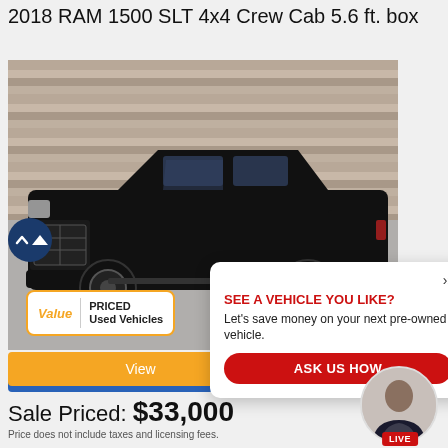2018 RAM 1500 SLT 4x4 Crew Cab 5.6 ft. box
[Figure (photo): Black 2018 RAM 1500 SLT truck parked in front of a stone wall background]
SEE A VEHICLE YOU LIKE? Let's save money on your next pre-owned vehicle. ASK US HOW
View
Info Request
Sale Priced: $33,000
Price does not include taxes and licensing fees.